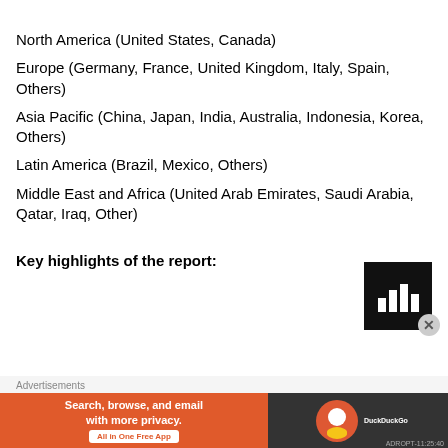North America (United States, Canada)
Europe (Germany, France, United Kingdom, Italy, Spain, Others)
Asia Pacific (China, Japan, India, Australia, Indonesia, Korea, Others)
Latin America (Brazil, Mexico, Others)
Middle East and Africa (United Arab Emirates, Saudi Arabia, Qatar, Iraq, Other)
Key highlights of the report:
[Figure (illustration): Black box icon with white bar chart graphic]
Advertisements
Search, browse, and email with more privacy. All in One Free App — DuckDuckGo